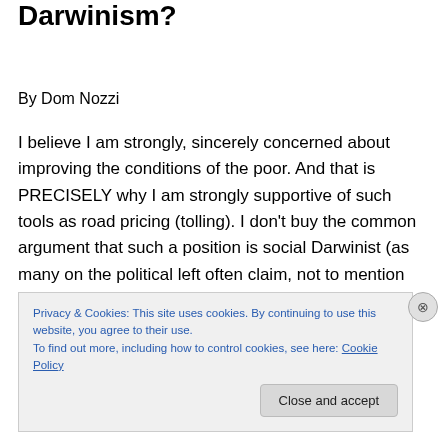Darwinism?
By Dom Nozzi
I believe I am strongly, sincerely concerned about improving the conditions of the poor. And that is PRECISELY why I am strongly supportive of such tools as road pricing (tolling). I don't buy the common argument that such a position is social Darwinist (as many on the political left often claim, not to mention many on the right, who prefer to keep this form of socialism for driving a car).
Privacy & Cookies: This site uses cookies. By continuing to use this website, you agree to their use.
To find out more, including how to control cookies, see here: Cookie Policy